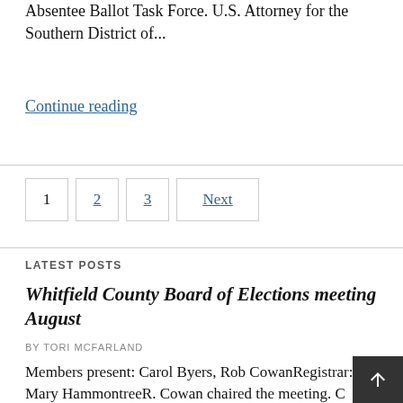Absentee Ballot Task Force. U.S. Attorney for the Southern District of...
Continue reading
1  2  3  Next
LATEST POSTS
Whitfield County Board of Elections meeting August
BY TORI MCFARLAND
Members present: Carol Byers, Rob CowanRegistrar: Mary HammontreeR. Cowan chaired the meeting. C businessM. Hammontree reported the precinct su...